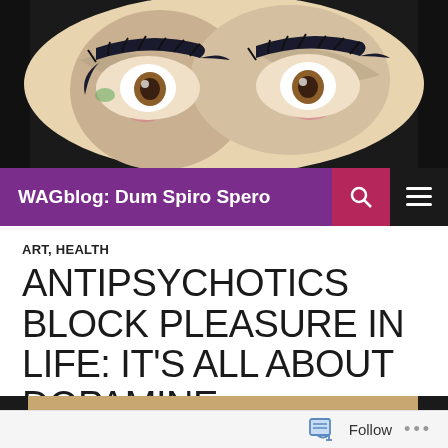[Figure (illustration): Close-up painting of a face showing two eyes with heavy dark makeup or paint, brown irises, on a swirling colorful background. Art style painting used as blog header image.]
WAGblog: Dum Spiro Spero
ART, HEALTH
ANTIPSYCHOTICS BLOCK PLEASURE IN LIFE: IT'S ALL ABOUT DOPAMINE...
SEPTEMBER 19, 2013  PHOEBE SPARROW WAGNER  19 COMMENTS
[Figure (photo): Partial bottom image visible, appears to be a photo or artwork, cropped.]
Follow